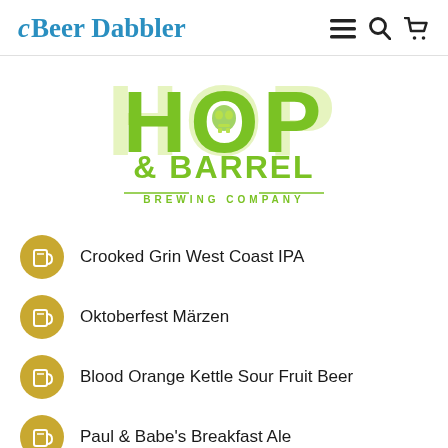Beer Dabbler — navigation bar with menu, search, and cart icons
[Figure (logo): Hop & Barrel Brewing Company logo in lime green with skull/hop graphic]
Crooked Grin West Coast IPA
Oktoberfest Märzen
Blood Orange Kettle Sour Fruit Beer
Paul & Babe's Breakfast Ale